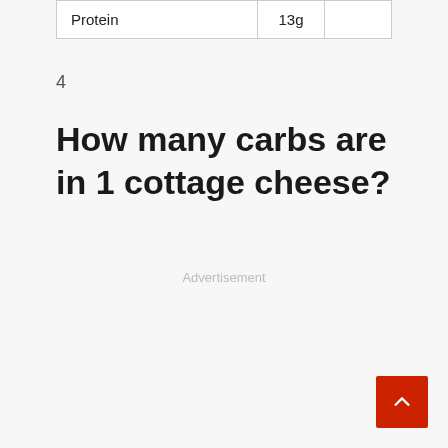| Protein | 13g |  |
4
How many carbs are in 1 cottage cheese?
Advertisement